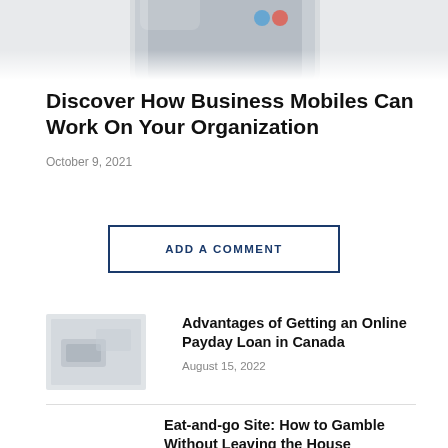[Figure (photo): Partial photo of a smartphone device from above, light gray/silver color, cropped at top]
Discover How Business Mobiles Can Work On Your Organization
October 9, 2021
ADD A COMMENT
[Figure (photo): Thumbnail photo related to payday loan article, gray toned image]
Advantages of Getting an Online Payday Loan in Canada
August 15, 2022
Eat-and-go Site: How to Gamble Without Leaving the House